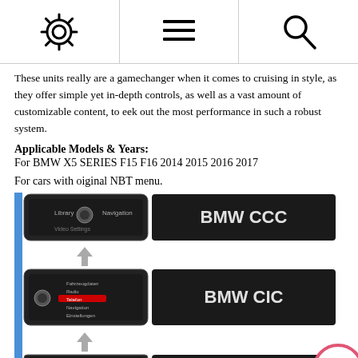[Figure (infographic): Top navigation bar with three icons: settings gear icon, menu/list icon, and search/magnifying glass icon, separated by vertical lines]
These units really are a gamechanger when it comes to cruising in style, as they offer simple yet in-depth controls, as well as a vast amount of customizable content, to eek out the most performance in such a robust system.
Applicable Models & Years:
For BMW X5 SERIES F15 F16 2014 2015 2016 2017
For cars with oiginal NBT menu.
[Figure (infographic): BMW system progression diagram showing three rows: BMW CCC (top), BMW CIC (middle), BMW NBT (bottom), each with a screenshot of the corresponding interface on the left and a dark banner with the system name on the right. Arrows point downward between rows. A blue vertical bar runs along the left edge.]
Please double check the year and also ensure your car has an active